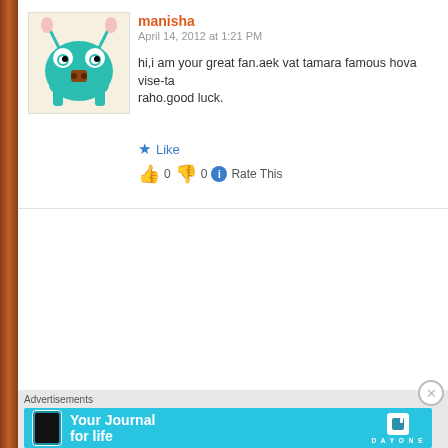[Figure (illustration): Green cartoon monster avatar with bunny ears and brown nose]
manisha
April 14, 2012 at 1:21 PM
hi,i am your great fan.aek vat tamara famous hova vise-ta raho.good luck.
Like
0  0  Rate This
[Figure (photo): Profile photo of a man in white shirt]
□□□□□ □□□□
April 22, 2012 at 9:46 AM
HIIIIIIII JAYJI TAMARO BHAVUK VACHAK INTERNET NI ME MAN THI J NAKI KARYU HATU KE MARI KAMANI MA CHE PC LIDHA BAD SAUTHI PAHELU SERCH JAYJI TA EK WORDS KAYAM MATE YADD RAHI GAYO JE KOI PA CHE LOVE U HAMESHA READERS……….JO KE HAMNA ITS OK….ANYWAY GM JSK ANE LOVE U ALWYAS…….
Like
0  0  Rate This
Advertisements
[Figure (infographic): Day One app advertisement banner - Your Journal for life]